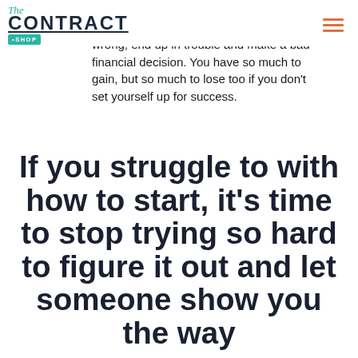The CONTRACT .SHOP
if this is right! You're scared to start because you're afraid you'll do something wrong, end up in trouble and make a bad financial decision. You have so much to gain, but so much to lose too if you don't set yourself up for success.
If you struggle to with how to start, it's time to stop trying so hard to figure it out and let someone show you the way